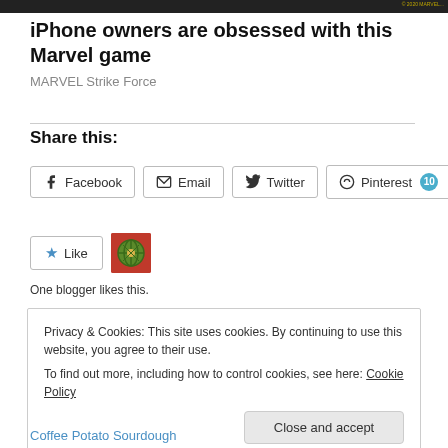[Figure (photo): Dark banner image at the top of the page]
iPhone owners are obsessed with this Marvel game
MARVEL Strike Force
Share this:
Facebook | Email | Twitter | Pinterest 10
One blogger likes this.
Privacy & Cookies: This site uses cookies. By continuing to use this website, you agree to their use. To find out more, including how to control cookies, see here: Cookie Policy
Close and accept
Coffee Potato Sourdough